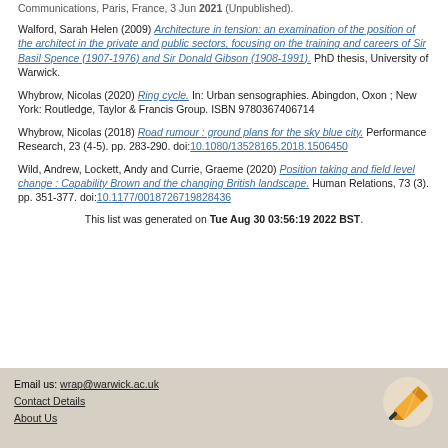Communications, Paris, France, 3 Jun 2021 (Unpublished).
Walford, Sarah Helen (2009) Architecture in tension: an examination of the position of the architect in the private and public sectors, focusing on the training and careers of Sir Basil Spence (1907-1976) and Sir Donald Gibson (1908-1991). PhD thesis, University of Warwick.
Whybrow, Nicolas (2020) Ring cycle. In: Urban sensographies. Abingdon, Oxon ; New York: Routledge, Taylor & Francis Group. ISBN 9780367406714
Whybrow, Nicolas (2018) Road rumour : ground plans for the sky blue city. Performance Research, 23 (4-5). pp. 283-290. doi:10.1080/13528165.2018.1506450
Wild, Andrew, Lockett, Andy and Currie, Graeme (2020) Position taking and field level change : Capability Brown and the changing British landscape. Human Relations, 73 (3). pp. 351-377. doi:10.1177/0018726719828436
This list was generated on Tue Aug 30 03:56:19 2022 BST.
Email us: wrap@warwick.ac.uk
Contact Details
About Us